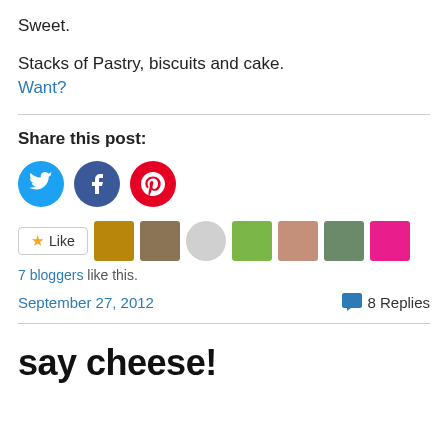Sweet.
Stacks of Pastry, biscuits and cake.
Want?
Share this post:
[Figure (other): Social share icons: Twitter (blue circle), Facebook (dark blue circle), Pinterest (red circle)]
[Figure (other): Like button with star icon and 7 blogger avatars]
7 bloggers like this.
September 27, 2012
8 Replies
say cheese!